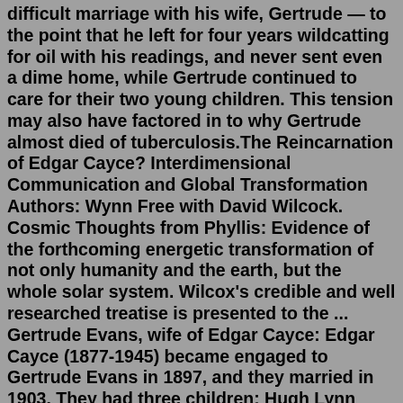realm from which it recently came.Edgar Cayce had a difficult marriage with his wife, Gertrude — to the point that he left for four years wildcatting for oil with his readings, and never sent even a dime home, while Gertrude continued to care for their two young children. This tension may also have factored in to why Gertrude almost died of tuberculosis.The Reincarnation of Edgar Cayce? Interdimensional Communication and Global Transformation Authors: Wynn Free with David Wilcock. Cosmic Thoughts from Phyllis: Evidence of the forthcoming energetic transformation of not only humanity and the earth, but the whole solar system. Wilcox's credible and well researched treatise is presented to the ... Gertrude Evans, wife of Edgar Cayce: Edgar Cayce (1877-1945) became engaged to Gertrude Evans in 1897, and they married in 1903. They had three children: Hugh Lynn Cayce (1907-1982), Milton Porter Cayce (1911-1911), and Edgar Evans Cayce (1918 -2013). Angelica, Wilcock's best female friend from college: Astonishing synchronicities happened between them